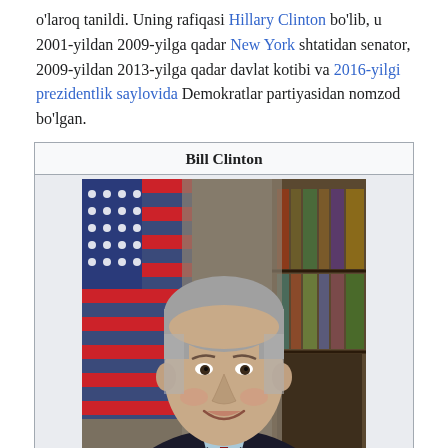o'laroq tanildi. Uning rafiqasi Hillary Clinton bo'lib, u 2001-yildan 2009-yilga qadar New York shtatidan senator, 2009-yildan 2013-yilga qadar davlat kotibi va 2016-yilgi prezidentlik saylovida Demokratlar partiyasidan nomzod bo'lgan.
[Figure (photo): Official portrait photo of Bill Clinton smiling, wearing a dark suit with tie, American flag visible in background, bookshelf in background. Infobox with title 'Bill Clinton'.]